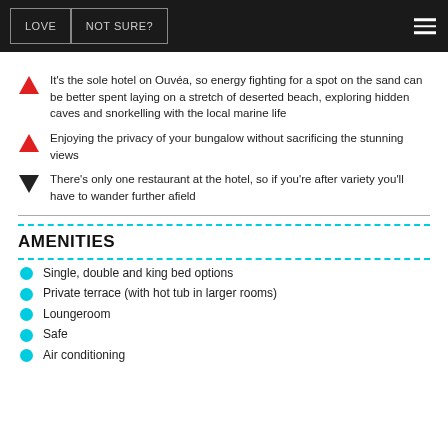LOVE | NOT SURE?
It's the sole hotel on Ouvéa, so energy fighting for a spot on the sand can be better spent laying on a stretch of deserted beach, exploring hidden caves and snorkelling with the local marine life
Enjoying the privacy of your bungalow without sacrificing the stunning views
There's only one restaurant at the hotel, so if you're after variety you'll have to wander further afield
AMENITIES
Single, double and king bed options
Private terrace (with hot tub in larger rooms)
Loungeroom
Safe
Air conditioning